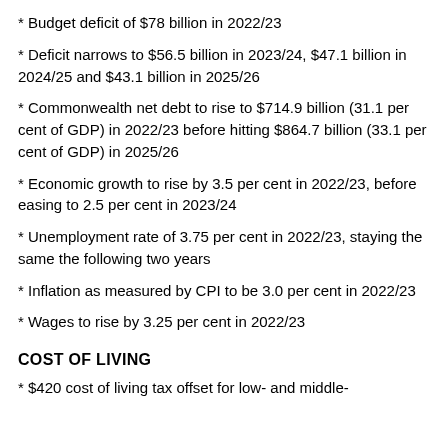* Budget deficit of $78 billion in 2022/23
* Deficit narrows to $56.5 billion in 2023/24, $47.1 billion in 2024/25 and $43.1 billion in 2025/26
* Commonwealth net debt to rise to $714.9 billion (31.1 per cent of GDP) in 2022/23 before hitting $864.7 billion (33.1 per cent of GDP) in 2025/26
* Economic growth to rise by 3.5 per cent in 2022/23, before easing to 2.5 per cent in 2023/24
* Unemployment rate of 3.75 per cent in 2022/23, staying the same the following two years
* Inflation as measured by CPI to be 3.0 per cent in 2022/23
* Wages to rise by 3.25 per cent in 2022/23
COST OF LIVING
* $420 cost of living tax offset for low- and middle-